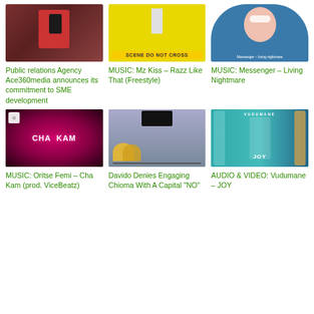[Figure (photo): Man in red blazer and tie, professional headshot]
Public relations Agency Ace360media announces its commitment to SME development
[Figure (photo): Person in yellow background with crime scene tape reading SCENE DO NOT CROSS]
MUSIC: Mz Kiss – Razz Like That (Freestyle)
[Figure (photo): Album art showing illustrated girl with flowers covering eyes on blue background, Messenger Living Nightmare]
MUSIC: Messenger – Living Nightmare
[Figure (photo): Music artwork with CHA KAM text on pink/purple light background]
MUSIC: Oritse Femi – Cha Kam (prod. ViceBeatz)
[Figure (photo): People sitting at a radio/podcast studio desk with microphones]
Davido Denies Engaging Chioma With A Capital "NO"
[Figure (photo): Vudumane JOY album art with guitars and person]
AUDIO & VIDEO: Vudumane – JOY